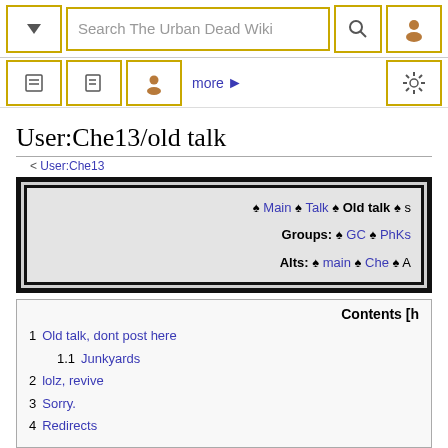Search The Urban Dead Wiki
User:Che13/old talk
< User:Che13
♠ Main ♠ Talk ♠ Old talk ♠ s... Groups: ♠ GC ♠ PhKs... Alts: ♠ main ♠ Che ♠ A...
Contents [h]
1  Old talk, dont post here
1.1  Junkyards
2  lolz, revive
3  Sorry.
4  Redirects